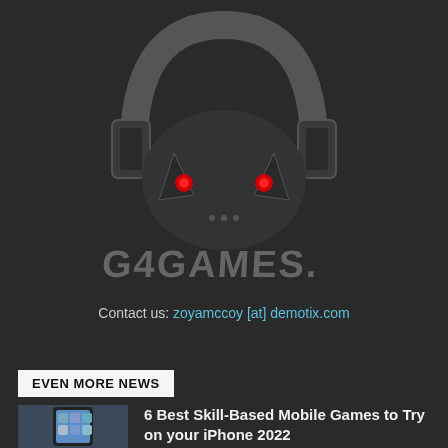[Figure (logo): G4GAMES logo: a dark skull/demon face wearing headphones with red glowing eyes, with stylized text 'G4GAMES.' below it on a dark background]
Contact us: zoyamccoy [at] demotix.com
EVEN MORE NEWS
[Figure (photo): Thumbnail image of a smartphone (iPhone) with a blue app screen]
6 Best Skill-Based Mobile Games to Try on your iPhone 2022